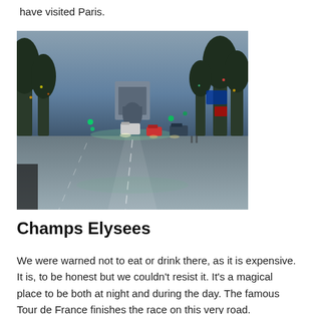have visited Paris.
[Figure (photo): Street-level photo looking up the Champs-Élysées toward the Arc de Triomphe at dusk/night, with cars, festive lights, and trees lining the boulevard.]
Champs Elysees
We were warned not to eat or drink there, as it is expensive. It is, to be honest but we couldn't resist it. It's a magical place to be both at night and during the day. The famous Tour de France finishes the race on this very road.